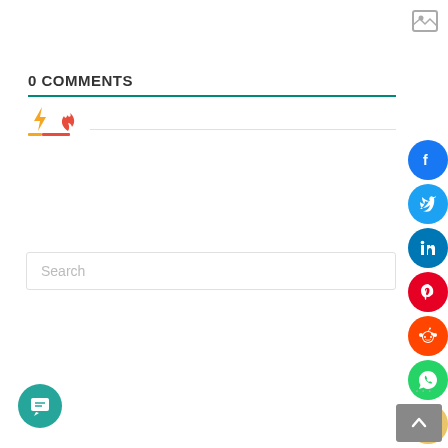[Figure (illustration): Image placeholder icon in top right corner]
0 COMMENTS
[Figure (illustration): Tab icons: lightning bolt (orange) and fire (red-orange) with colored underlines and a horizontal divider line]
[Figure (illustration): Social share buttons column on the right: Facebook (blue), Twitter (blue), LinkedIn (blue), Pinterest (red), Reddit (orange), WhatsApp (green), Email (yellow)]
Search
[Figure (illustration): Chat/messaging floating button (teal circle with message icon) at bottom left]
...
[Figure (illustration): Scroll to top button (grey rounded rectangle with up arrow) at bottom right]